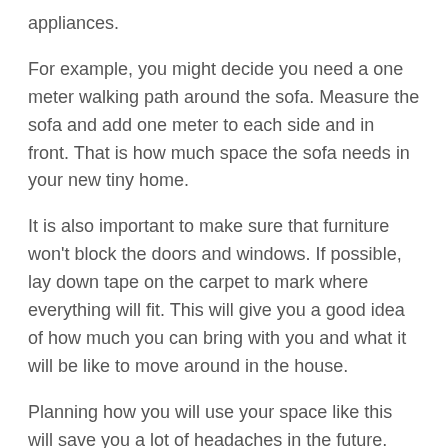appliances.
For example, you might decide you need a one meter walking path around the sofa. Measure the sofa and add one meter to each side and in front. That is how much space the sofa needs in your new tiny home.
It is also important to make sure that furniture won't block the doors and windows. If possible, lay down tape on the carpet to mark where everything will fit. This will give you a good idea of how much you can bring with you and what it will be like to move around in the house.
Planning how you will use your space like this will save you a lot of headaches in the future.
4. Label boxes
It's a good idea to label your boxes when moving